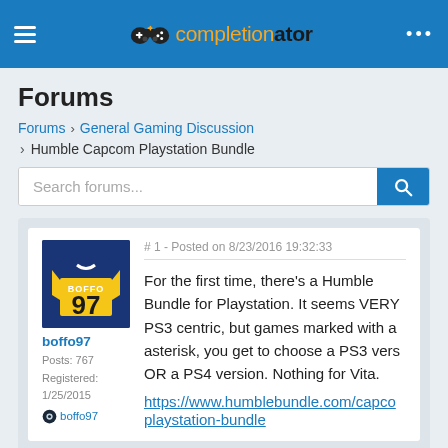completionator
Forums
Forums > General Gaming Discussion
> Humble Capcom Playstation Bundle
Search forums...
# 1 - Posted on 8/23/2016 19:32:33
boffo97
Posts: 767
Registered: 1/25/2015
boffo97
For the first time, there's a Humble Bundle for Playstation. It seems VERY PS3 centric, but games marked with a asterisk, you get to choose a PS3 vers OR a PS4 version. Nothing for Vita.
https://www.humblebundle.com/capcom-playstation-bundle